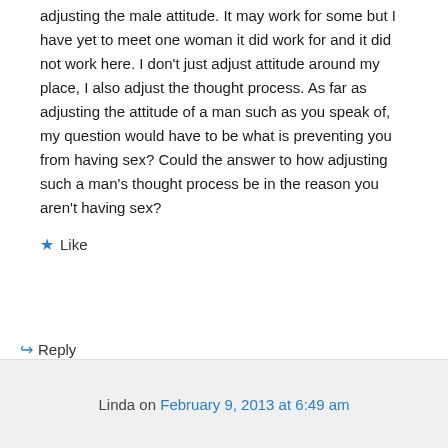adjusting the male attitude. It may work for some but I have yet to meet one woman it did work for and it did not work here. I don't just adjust attitude around my place, I also adjust the thought process. As far as adjusting the attitude of a man such as you speak of, my question would have to be what is preventing you from having sex? Could the answer to how adjusting such a man's thought process be in the reason you aren't having sex?
★ Like
↪ Reply
Linda on February 9, 2013 at 6:49 am